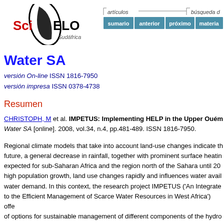[Figure (logo): SciELO Sudáfrica logo with oval swoosh graphic and red/black text]
[Figure (screenshot): SciELO navigation bar with artículos and búsqueda labels, and buttons: sumario, anterior, próximo, materia]
Water SA
versión On-line ISSN 1816-7950
versión impresa ISSN 0378-4738
Resumen
CHRISTOPH, M et al. IMPETUS: Implementing HELP in the Upper Ouém... Water SA [online]. 2008, vol.34, n.4, pp.481-489. ISSN 1816-7950.
Regional climate models that take into account land-use changes indicate th future, a general decrease in rainfall, together with prominent surface heatin expected for sub-Saharan Africa and the region north of the Sahara until 20 high population growth, land use changes rapidly and influences water avail water demand. In this context, the research project IMPETUS ('An Integrate to the Efficient Management of Scarce Water Resources in West Africa') offe of options for sustainable management of different components of the hydro cycle. Target areas are the Ouémé basin in Benin and the Dráa catchment i This paper concentrates on the Ouémé basin. Based on plausible scenarios